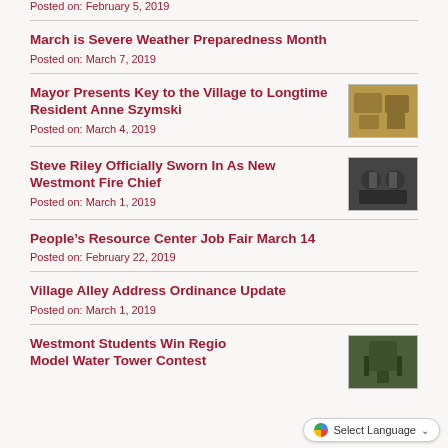Posted on: February 5, 2019
March is Severe Weather Preparedness Month
Posted on: March 7, 2019
Mayor Presents Key to the Village to Longtime Resident Anne Szymski
Posted on: March 4, 2019
Steve Riley Officially Sworn In As New Westmont Fire Chief
Posted on: March 1, 2019
People's Resource Center Job Fair March 14
Posted on: February 22, 2019
Village Alley Address Ordinance Update
Posted on: March 1, 2019
Westmont Students Win Regional Model Water Tower Contest
[Figure (screenshot): Select Language dropdown widget from Google Translate]